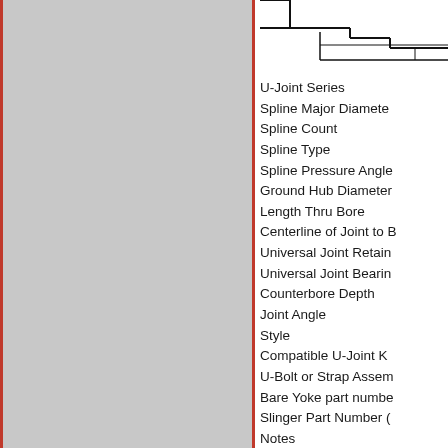[Figure (engineering-diagram): Partial technical cross-section diagram of a U-Joint yoke component, showing top-right portion of the mechanical drawing with outline and detail lines.]
U-Joint Series
Spline Major Diameter
Spline Count
Spline Type
Spline Pressure Angle
Ground Hub Diameter
Length Thru Bore
Centerline of Joint to B
Universal Joint Retain
Universal Joint Bearing
Counterbore Depth
Joint Angle
Style
Compatible U-Joint K
U-Bolt or Strap Assem
Bare Yoke part number
Slinger Part Number (
Notes